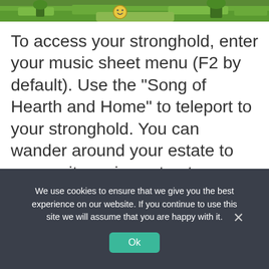[Figure (screenshot): Screenshot of a top-down game environment showing green grass and a character with a yellow smiley face icon, cropped to just the top strip.]
To access your stronghold, enter your music sheet menu (F2 by default). Use the "Song of Hearth and Home" to teleport to your stronghold. You can wander around your estate to access its various structures and features, but there's a faster way: press Ctrl + 1. This will open a menu that will let you access all of the important features of your stronghold through a series of menus. For decorating your estate,
We use cookies to ensure that we give you the best experience on our website. If you continue to use this site we will assume that you are happy with it.